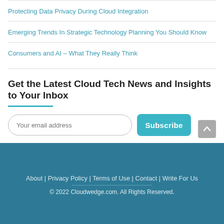Protecting Data Privacy During Cloud Integration
Emerging Trends In Strategic Technology Planning You Should Know
Consumers and AI – What They Really Think
Get the Latest Cloud Tech News and Insights to Your Inbox
Your email address | Subscribe
About | Privacy Policy | Terms of Use | Contact | Write For Us
© 2022 Cloudwedge.com. All Rights Reserved.